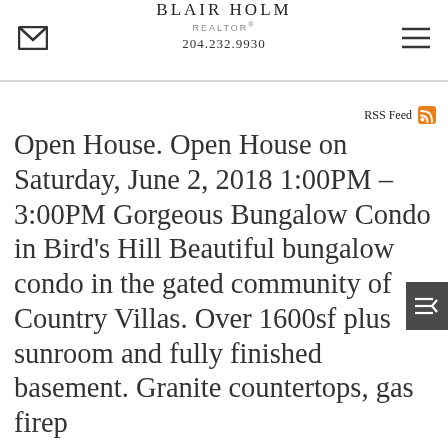BLAIR HOLM REALTOR® 204.232.9930
RSS Feed
Open House. Open House on Saturday, June 2, 2018 1:00PM - 3:00PM Gorgeous Bungalow Condo in Bird's Hill Beautiful bungalow condo in the gated community of Country Villas. Over 1600sf plus sunroom and fully finished basement. Granite countertops, gas firep